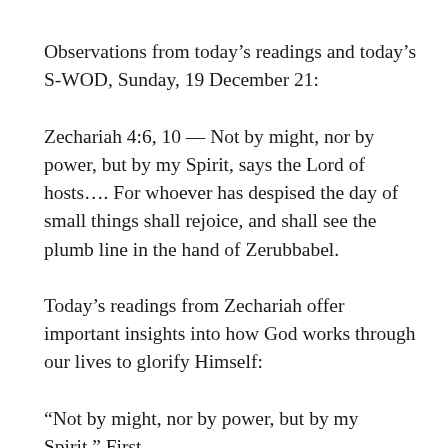Observations from today's readings and today's S-WOD, Sunday, 19 December 21:
Zechariah 4:6, 10 — Not by might, nor by power, but by my Spirit, says the Lord of hosts…. For whoever has despised the day of small things shall rejoice, and shall see the plumb line in the hand of Zerubbabel.
Today's readings from Zechariah offer important insights into how God works through our lives to glorify Himself:
“Not by might, nor by power, but by my Spirit.” First,